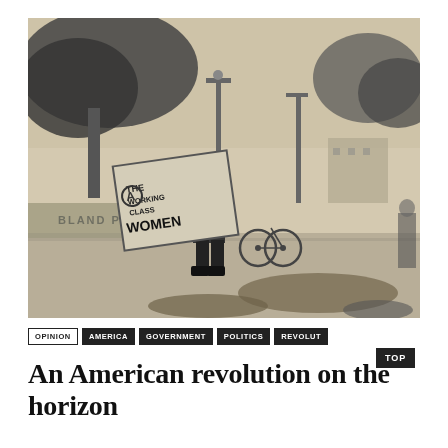[Figure (photo): Black and white / sepia-toned outdoor photograph of a person standing on a sidewalk holding a large protest sign that reads 'THE WORKING CLASS WOMEN'. Behind them is a park area with trees, streetlamps, a bicycle, and buildings in the background. Text 'BLAND PARK' is visible on a wall. Another person is visible at the far right edge.]
OPINION  AMERICA  GOVERNMENT  POLITICS  REVOLUT  TOP
An American revolution on the horizon